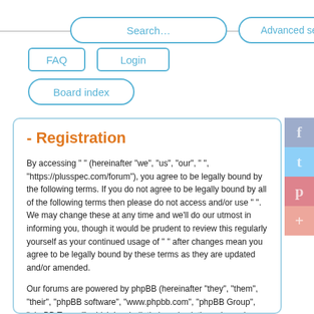[Figure (screenshot): Navigation UI with Search, Advanced search, FAQ, Login, and Board index buttons styled with rounded borders in blue, on a white background with a horizontal rule]
- Registration
By accessing " " (hereinafter "we", "us", "our", " ", "https://plusspec.com/forum"), you agree to be legally bound by the following terms. If you do not agree to be legally bound by all of the following terms then please do not access and/or use " ". We may change these at any time and we'll do our utmost in informing you, though it would be prudent to review this regularly yourself as your continued usage of " " after changes mean you agree to be legally bound by these terms as they are updated and/or amended.
Our forums are powered by phpBB (hereinafter "they", "them", "their", "phpBB software", "www.phpbb.com", "phpBB Group", "phpBB Teams") which is a bulletin board solution released under the "General Public License" (hereinafter "GPL") and can be downloaded from www.phpbb.com. The phpBB software only facilitates internet based discussions, the phpBB Group are not responsible for what we allow